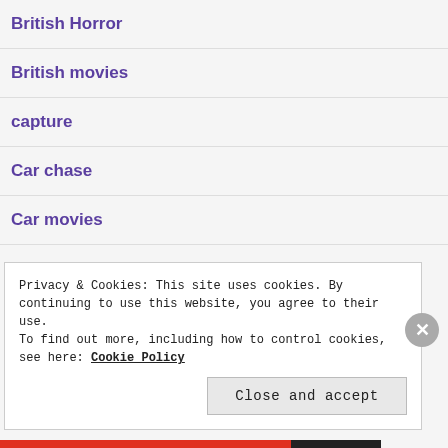British Horror
British movies
capture
Car chase
Car movies
Privacy & Cookies: This site uses cookies. By continuing to use this website, you agree to their use.
To find out more, including how to control cookies, see here: Cookie Policy
Close and accept